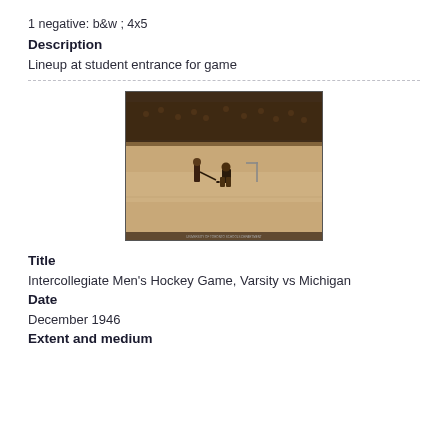1 negative: b&w ; 4x5
Description
Lineup at student entrance for game
[Figure (photo): Black and white sepia-toned photograph of an intercollegiate men's hockey game on an ice rink, showing players on the ice with a goalie and crowd in the background.]
Title
Intercollegiate Men's Hockey Game, Varsity vs Michigan
Date
December 1946
Extent and medium